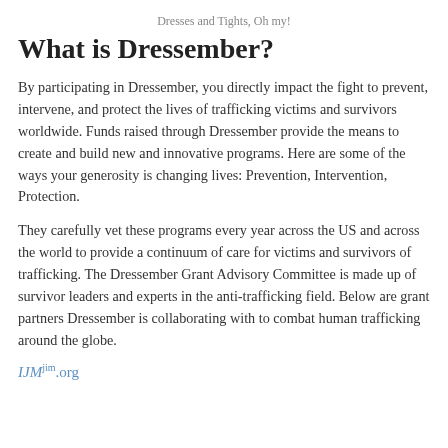Dresses and Tights, Oh my!
What is Dressember?
By participating in Dressember,  you directly impact the fight to prevent, intervene, and protect the lives of trafficking victims and survivors worldwide. Funds raised through Dressember provide the means to create and build new and innovative programs. Here are some of the ways your generosity is changing lives: Prevention, Intervention, Protection.
They carefully vet these programs every year across the US and across the world to provide a continuum of care for victims and survivors of trafficking. The Dressember Grant Advisory Committee is made up of survivor leaders and experts in the anti-trafficking field. Below are grant partners Dressember is collaborating with to combat human trafficking around the globe.
IJMjim.org